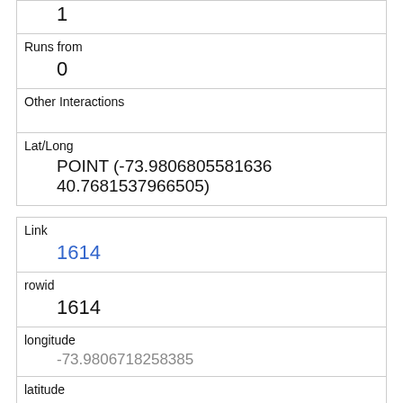| 1 |
| Runs from | 0 |
| Other Interactions |  |
| Lat/Long | POINT (-73.9806805581636 40.7681537966505) |
| Link | 1614 |
| rowid | 1614 |
| longitude | -73.9806718258385 |
| latitude | 40.7692776896995 |
| Unique Squirrel ID | 2A-AM-1010-07 |
| Hectare | 02A |
| Shift |  |